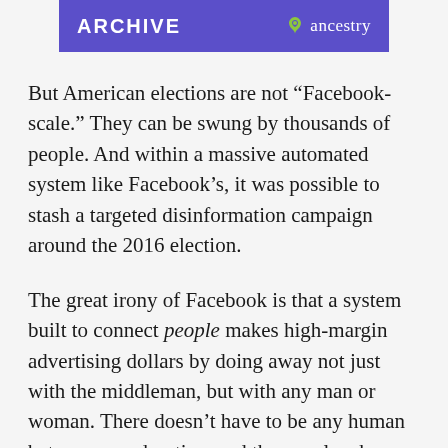[Figure (logo): Purple banner header with 'ARCHIVE' text on the left in white bold uppercase letters and Ancestry logo (green leaf icon + white 'ancestry' text) on the right]
But American elections are not “Facebook-scale.” They can be swung by thousands of people. And within a massive automated system like Facebook’s, it was possible to stash a targeted disinformation campaign around the 2016 election.
The great irony of Facebook is that a system built to connect people makes high-margin advertising dollars by doing away not just with the middleman, but with any man or woman. There doesn’t have to be any human between an advertiser and the people who are targeted.